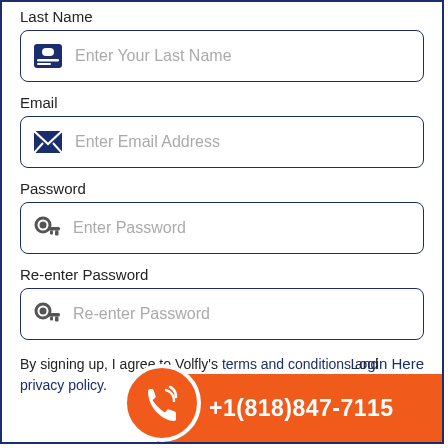Last Name
[Figure (screenshot): Input field with ID card icon and placeholder text 'Enter Your Last Name']
Email
[Figure (screenshot): Input field with email/envelope icon and placeholder text 'Enter Email Address']
Password
[Figure (screenshot): Input field with key icon and placeholder text 'Enter Password']
Re-enter Password
[Figure (screenshot): Input field with key icon and placeholder text 'Re-enter Password']
By signing up, I agree to Volfly's terms and conditions and privacy policy.
+1(818)847-7115
Login Here